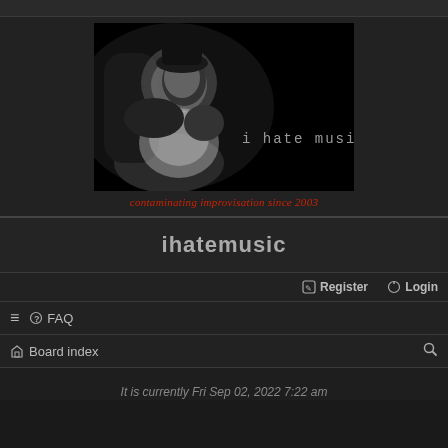[Figure (photo): Black and white banner image of a person reclining, with text 'i hate music' in monospace font on the right side against a dark background]
contaminating improvisation since 2003
ihatemusic
Register  Login
≡  FAQ
Board index
It is currently Fri Sep 02, 2022 7:22 am